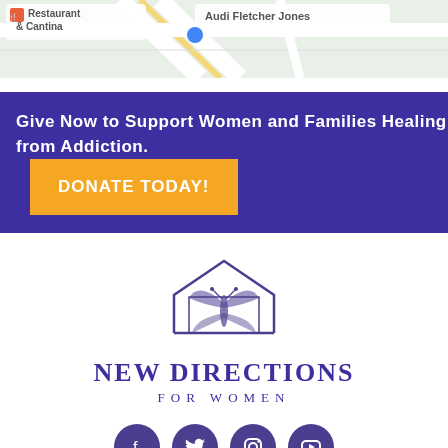[Figure (map): Google Maps screenshot showing 'Restaurant & Cantina' and 'Audi Fletcher Jones' location markers with street map background]
Give Now to Support Women and Families Healing from Addiction.
DONATE TODAY!
[Figure (logo): New Directions for Women logo: purple butterfly inside a house outline, with text NEW DIRECTIONS FOR WOMEN]
[Figure (infographic): Social media icons row: Facebook, Twitter, Instagram, YouTube (top row), Pinterest, LinkedIn (bottom row), and green phone call button]